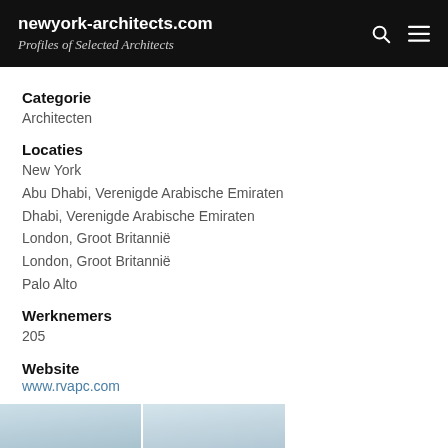newyork-architects.com — Profiles of Selected Architects
Categorie
Architecten
Locaties
New York
Abu Dhabi, Verenigde Arabische Emiraten
Dhabi, Verenigde Arabische Emiraten
London, Groot Britannië
London, Groot Britannië
Palo Alto
Werknemers
205
Website
www.rvapc.com
Opgericht
1983
[Figure (photo): Partial view of architectural photography, two image thumbnails side by side at bottom of page]